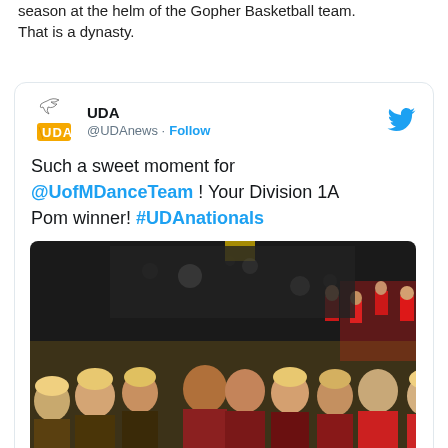season at the helm of the Gopher Basketball team. That is a dynasty.
[Figure (screenshot): Embedded tweet from @UDAnews (UDA) with Twitter bird logo, text reading 'Such a sweet moment for @UofMDanceTeam ! Your Division 1A Pom winner! #UDAnationals', and a photo of a crowd of people cheering at a dance/cheer competition event.]